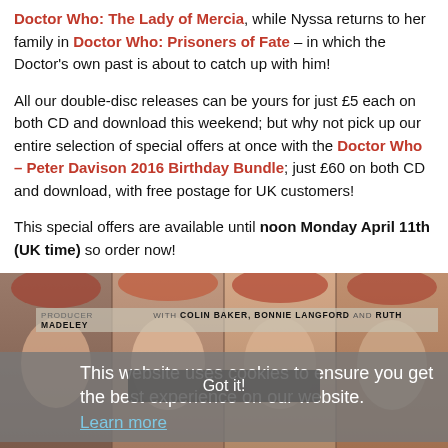Doctor Who: The Lady of Mercia, while Nyssa returns to her family in Doctor Who: Prisoners of Fate – in which the Doctor's own past is about to catch up with him!
All our double-disc releases can be yours for just £5 each on both CD and download this weekend; but why not pick up our entire selection of special offers at once with the Doctor Who – Peter Davison 2016 Birthday Bundle; just £60 on both CD and download, with free postage for UK customers!
This special offers are available until noon Monday April 11th (UK time) so order now!
For more Fifth Doctor Adventures, check out our collected range page here.
What the best experience on our website.
This website uses cookies to ensure you get the best experience on our website.
Learn more
[Figure (photo): Photo strip of actors/characters from Doctor Who, showing faces with red/auburn hair. Cast credits visible: Colin Baker, Bonnie Langford, Ruth Madeley.]
Got it!